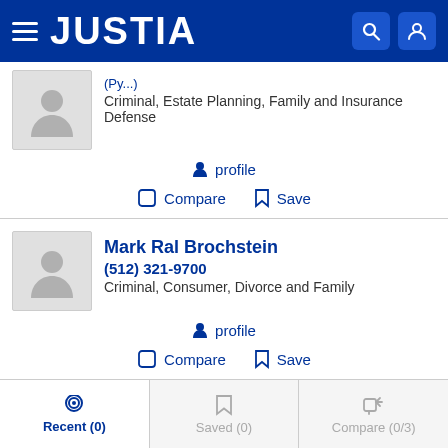JUSTIA
Criminal, Estate Planning, Family and Insurance Defense
profile
Compare   Save
Mark Ral Brochstein
(512) 321-9700
Criminal, Consumer, Divorce and Family
profile
Compare   Save
Recent (0)   Saved (0)   Compare (0/3)